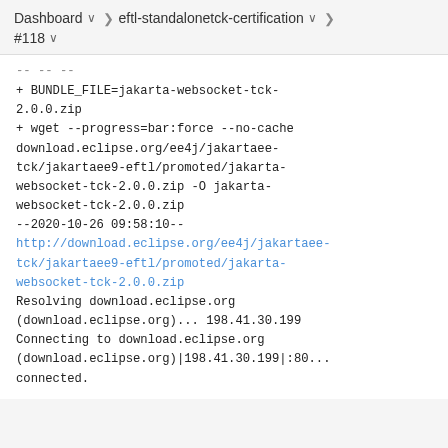Dashboard  >  eftl-standalonetck-certification  >
#118
+ BUNDLE_FILE=jakarta-websocket-tck-2.0.0.zip
+ wget --progress=bar:force --no-cache download.eclipse.org/ee4j/jakartaee-tck/jakartaee9-eftl/promoted/jakarta-websocket-tck-2.0.0.zip -O jakarta-websocket-tck-2.0.0.zip
--2020-10-26 09:58:10--
http://download.eclipse.org/ee4j/jakartaee-tck/jakartaee9-eftl/promoted/jakarta-websocket-tck-2.0.0.zip
Resolving download.eclipse.org (download.eclipse.org)... 198.41.30.199
Connecting to download.eclipse.org (download.eclipse.org)|198.41.30.199|:80...
connected.